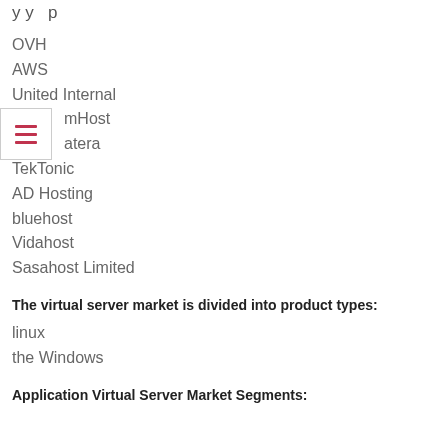y y p
OVH
AWS
United Internal
mHost
atera
TekTonic
AD Hosting
bluehost
Vidahost
Sasahost Limited
The virtual server market is divided into product types:
linux
the Windows
Application Virtual Server Market Segments: